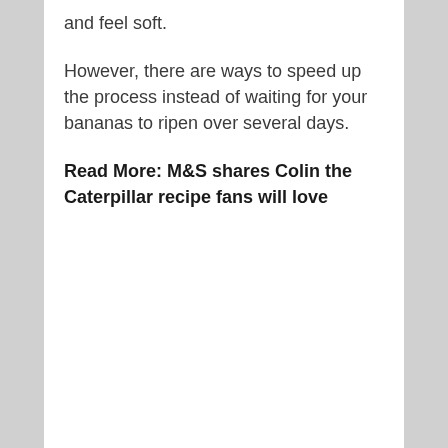and feel soft.
However, there are ways to speed up the process instead of waiting for your bananas to ripen over several days.
Read More: M&S shares Colin the Caterpillar recipe fans will love